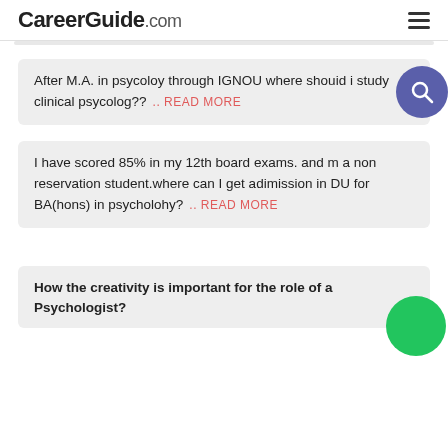CareerGuide.com
After M.A. in psycoloy through IGNOU where shouid i study clinical psycolog??  .. READ MORE
I have scored 85% in my 12th board exams. and m a non reservation student.where can I get adimission in DU for BA(hons) in psycholohy?  .. READ MORE
How the creativity is important for the role of a Psychologist?